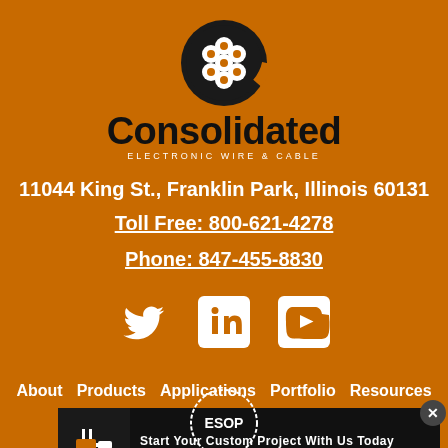[Figure (logo): Consolidated Electronic Wire & Cable logo with cable reel icon above company name]
11044 King St., Franklin Park, Illinois 60131
Toll Free: 800-621-4278
Phone: 847-455-8830
[Figure (illustration): Social media icons: Twitter, LinkedIn, YouTube]
About
Products
Applications
Portfolio
Resources
Start Your Custom Project With Us Today
[Figure (logo): ESOP badge at bottom]